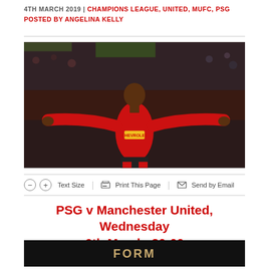4TH MARCH 2019 | CHAMPIONS LEAGUE, UNITED, MUFC, PSG
POSTED BY ANGELINA KELLY
[Figure (photo): Manchester United player in red jersey celebrating with arms outstretched wide, crowd in background]
⊖  ⊕  Text Size  |  🖨 Print This Page  |  ✉ Send by Email
PSG v Manchester United, Wednesday 6th March, 20:00
FORM